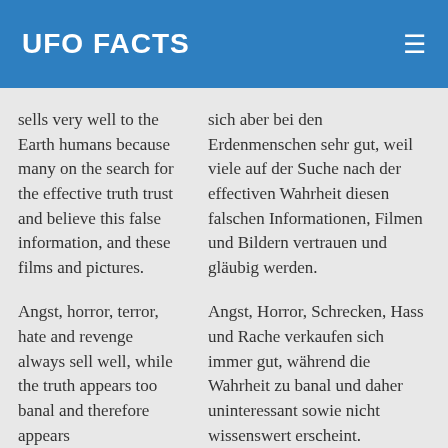UFO FACTS
sells very well to the Earth humans because many on the search for the effective truth trust and believe this false information, and these films and pictures.
sich aber bei den Erdenmenschen sehr gut, weil viele auf der Suche nach der effectiven Wahrheit diesen falschen Informationen, Filmen und Bildern vertrauen und gläubig werden.
Angst, horror, terror, hate and revenge always sell well, while the truth appears too banal and therefore appears
Angst, Horror, Schrecken, Hass und Rache verkaufen sich immer gut, während die Wahrheit zu banal und daher uninteressant sowie nicht wissenswert erscheint.